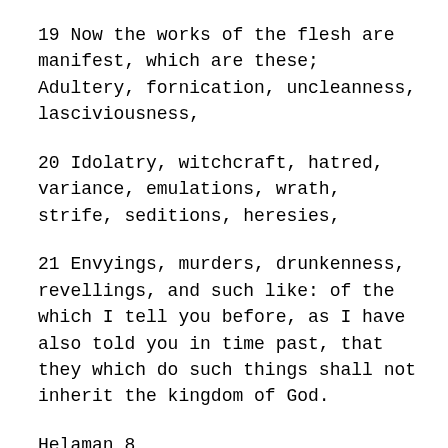19 Now the works of the flesh are manifest, which are these; Adultery, fornication, uncleanness, lasciviousness,
20 Idolatry, witchcraft, hatred, variance, emulations, wrath, strife, seditions, heresies,
21 Envyings, murders, drunkenness, revellings, and such like: of the which I tell you before, as I have also told you in time past, that they which do such things shall not inherit the kingdom of God.
Helaman 8
26 Yea, even at this time ye are ripening, because